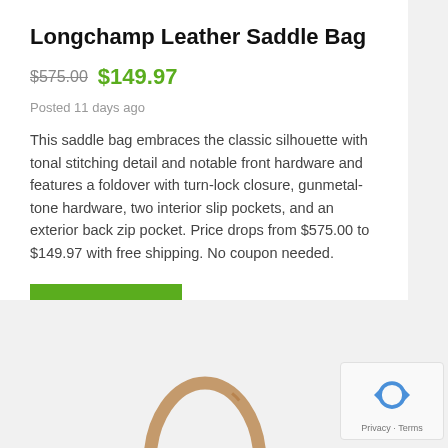Longchamp Leather Saddle Bag
$575.00 $149.97
Posted 11 days ago
This saddle bag embraces the classic silhouette with tonal stitching detail and notable front hardware and features a foldover with turn-lock closure, gunmetal-tone hardware, two interior slip pockets, and an exterior back zip pocket. Price drops from $575.00 to $149.97 with free shipping. No coupon needed.
GRAB IT NOW   at Saks OFF 5TH
[Figure (photo): Partial view of a tan leather Longchamp saddle bag strap against a light grey background]
[Figure (other): reCAPTCHA widget showing Privacy and Terms links]